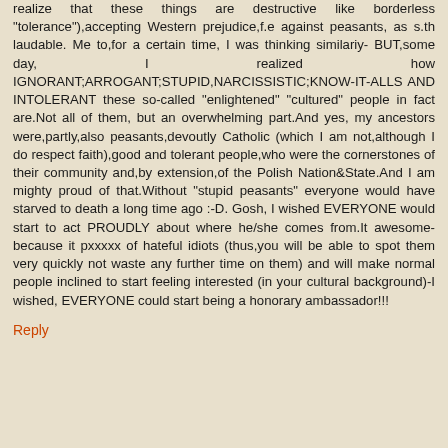realize that these things are destructive like borderless "tolerance"),accepting Western prejudice,f.e against peasants, as s.th laudable. Me to,for a certain time, I was thinking similariy- BUT,some day, I realized how IGNORANT;ARROGANT;STUPID,NARCISSISTIC;KNOW-IT-ALLS AND INTOLERANT these so-called "enlightened" "cultured" people in fact are.Not all of them, but an overwhelming part.And yes, my ancestors were,partly,also peasants,devoutly Catholic (which I am not,although I do respect faith),good and tolerant people,who were the cornerstones of their community and,by extension,of the Polish Nation&State.And I am mighty proud of that.Without "stupid peasants" everyone would have starved to death a long time ago :-D. Gosh, I wished EVERYONE would start to act PROUDLY about where he/she comes from.It awesome-because it pxxxxx of hateful idiots (thus,you will be able to spot them very quickly not waste any further time on them) and will make normal people inclined to start feeling interested (in your cultural background)-I wished, EVERYONE could start being a honorary ambassador!!!
Reply